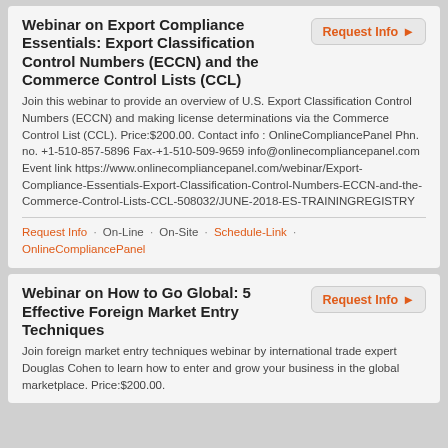Webinar on Export Compliance Essentials: Export Classification Control Numbers (ECCN) and the Commerce Control Lists (CCL)
Join this webinar to provide an overview of U.S. Export Classification Control Numbers (ECCN) and making license determinations via the Commerce Control List (CCL). Price:$200.00. Contact info : OnlineCompliancePanel Phn. no. +1-510-857-5896 Fax-+1-510-509-9659 info@onlinecompliancepanel.com Event link https://www.onlinecompliancepanel.com/webinar/Export-Compliance-Essentials-Export-Classification-Control-Numbers-ECCN-and-the-Commerce-Control-Lists-CCL-508032/JUNE-2018-ES-TRAININGREGISTRY
Request Info · On-Line · On-Site · Schedule-Link · OnlineCompliancePanel
Webinar on How to Go Global: 5 Effective Foreign Market Entry Techniques
Join foreign market entry techniques webinar by international trade expert Douglas Cohen to learn how to enter and grow your business in the global marketplace. Price:$200.00.